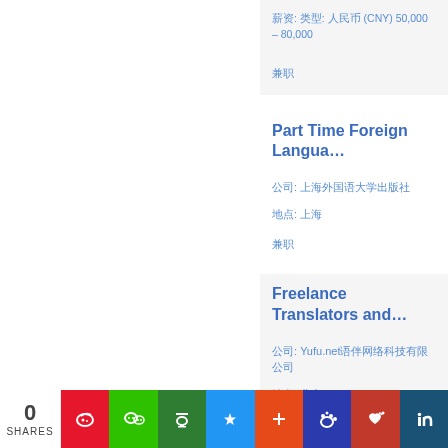薪资: 类型: 人民币 (CNY) 50,000 – 80,000
兼职
Part Time Foreign Langua…
公司: 上海外国语大学出版社
地点: 上海
兼职
Freelance Translators and…
公司: Yufu.net语伴网络科技有限公司
地点: 北京
自由职业
0 SHARES | social share buttons